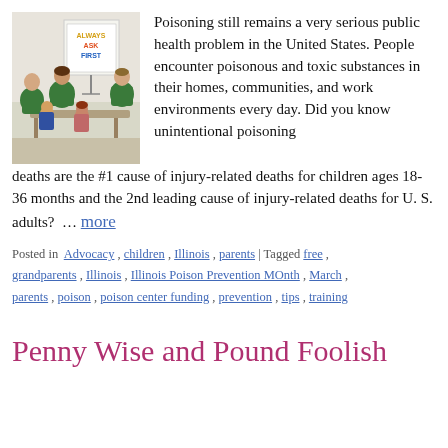[Figure (photo): Photo of adults in green shirts sitting with young children around a table, with a whiteboard sign reading 'ALWAYS ASK FIRST' in background.]
Poisoning still remains a very serious public health problem in the United States. People encounter poisonous and toxic substances in their homes, communities, and work environments every day. Did you know unintentional poisoning deaths are the #1 cause of injury-related deaths for children ages 18-36 months and the 2nd leading cause of injury-related deaths for U. S. adults?  … more
Posted in  Advocacy , children , Illinois , parents  | Tagged  free , grandparents , Illinois , Illinois Poison Prevention MOnth , March , parents , poison , poison center funding , prevention , tips , training
Penny Wise and Pound Foolish